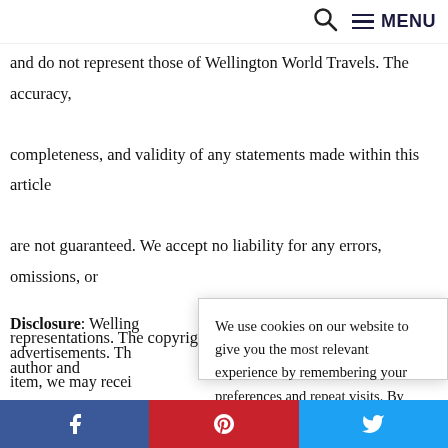MENU
and do not represent those of Wellington World Travels. The accuracy, completeness, and validity of any statements made within this article are not guaranteed. We accept no liability for any errors, omissions, or representations. The copyright of this content belongs to the author and any liability with regards to infringement of intellectual property rights remains with them.
Disclosure: Wellington [World Travels] advertisements. Th[...] item, we may recei[ve...] more about our Di[sclosure...]
We use cookies on our website to give you the most relevant experience by remembering your preferences and repeat visits. By clicking “Accept”, you consent to the use of ALL the cookies.
Do not sell my personal information.
Cookie settings   ACCEPT
[Figure (infographic): Like 83 Facebook like button in blue]
Social share bar: Facebook, Pinterest, Twitter